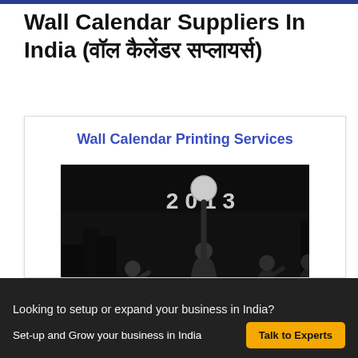Wall Calendar Suppliers In India (वॉल कैलेंडर सप्लायर्स)
Wall Calendar Printing Services
[Figure (photo): A wall calendar cover image showing robotic/stylized basketball player figures in action, with '2013' shown in the background. Dark monochromatic artistic style.]
Looking to setup or expand your business in India?
Set-up and Grow your business in India
Talk to Experts